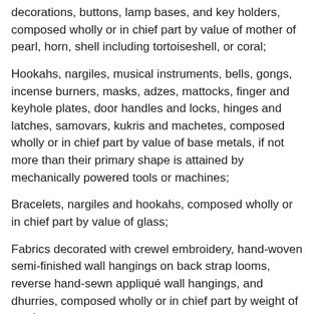decorations, buttons, lamp bases, and key holders, composed wholly or in chief part by value of mother of pearl, horn, shell including tortoiseshell, or coral;
Hookahs, nargiles, musical instruments, bells, gongs, incense burners, masks, adzes, mattocks, finger and keyhole plates, door handles and locks, hinges and latches, samovars, kukris and machetes, composed wholly or in chief part by value of base metals, if not more than their primary shape is attained by mechanically powered tools or machines;
Bracelets, nargiles and hookahs, composed wholly or in chief part by value of glass;
Fabrics decorated with crewel embroidery, hand-woven semi-finished wall hangings on back strap looms, reverse hand-sewn appliqué wall hangings, and dhurries, composed wholly or in chief part by weight of wool or cotton;
Lanterns, composed wholly or in chief part by value of